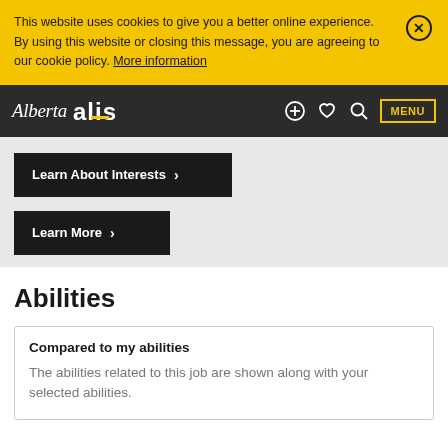This website uses cookies to give you a better online experience. By using this website or closing this message, you are agreeing to our cookie policy. More information
[Figure (logo): Alberta government ALIS logo in white on dark background with navigation icons (plus, heart, search) and MENU button]
Learn About Interests >
Learn More >
Abilities
Compared to my abilities
The abilities related to this job are shown along with your selected abilities.